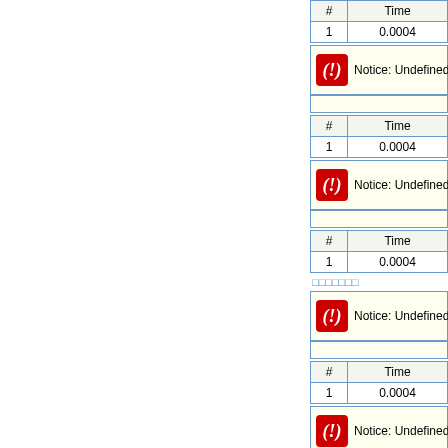| # | Time |
| --- | --- |
| 1 | 0.0004 |
Notice: Undefined index:
| # | Time |
| --- | --- |
| 1 | 0.0004 |
Notice: Undefined index:
| # | Time |
| --- | --- |
| 1 | 0.0004 |
□□□□□□□
Notice: Undefined index:
| # | Time |
| --- | --- |
| 1 | 0.0004 |
Notice: Undefined index: